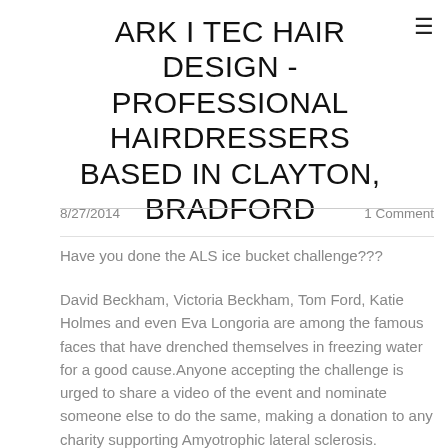ARK I TEC HAIR DESIGN - PROFESSIONAL HAIRDRESSERS BASED IN CLAYTON, BRADFORD
8/27/2014
1 Comment
Have you done the ALS ice bucket challenge???
David Beckham, Victoria Beckham, Tom Ford, Katie Holmes and even Eva Longoria are among the famous faces that have drenched themselves in freezing water for a good cause.Anyone accepting the challenge is urged to share a video of the event and nominate someone else to do the same, making a donation to any charity supporting Amyotrophic lateral sclerosis.